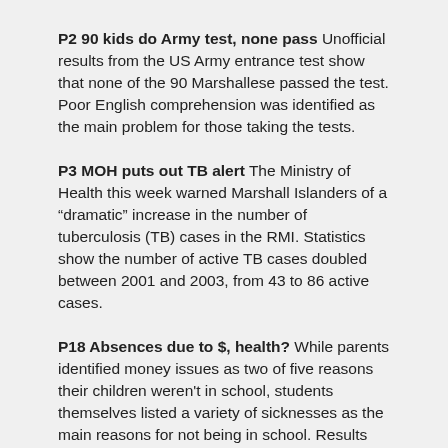P2 90 kids do Army test, none pass Unofficial results from the US Army entrance test show that none of the 90 Marshallese passed the test. Poor English comprehension was identified as the main problem for those taking the tests.
P3 MOH puts out TB alert The Ministry of Health this week warned Marshall Islanders of a "dramatic" increase in the number of tuberculosis (TB) cases in the RMI. Statistics show the number of active TB cases doubled between 2001 and 2003, from 43 to 86 active cases.
P18 Absences due to $, health? While parents identified money issues as two of five reasons their children weren't in school, students themselves listed a variety of sicknesses as the main reasons for not being in school. Results from the recent school truancy study showed adults listed the following reasons for student truancy: no